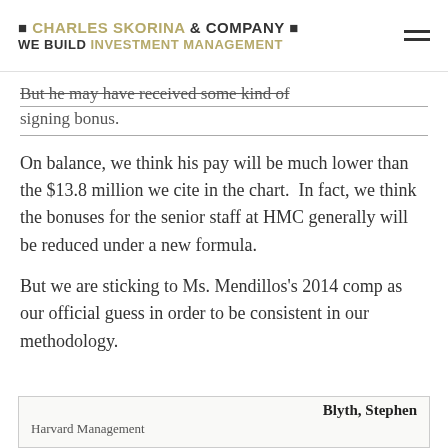CHARLES SKORINA & COMPANY | WE BUILD INVESTMENT MANAGEMENT
But he may have received some kind of signing bonus.
On balance, we think his pay will be much lower than the $13.8 million we cite in the chart.  In fact, we think the bonuses for the senior staff at HMC generally will be reduced under a new formula.
But we are sticking to Ms. Mendillos's 2014 comp as our official guess in order to be consistent in our methodology.
| Blyth, Stephen |
| Harvard Management |